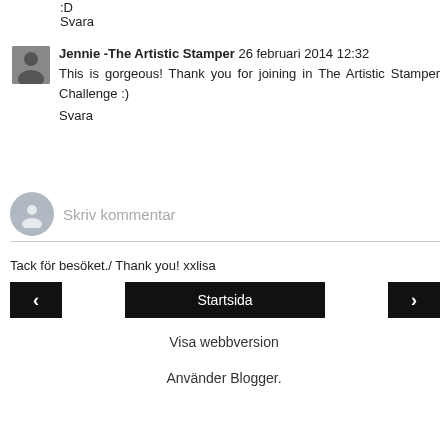:D
Svara
Jennie -The Artistic Stamper 26 februari 2014 12:32
This is gorgeous! Thank you for joining in The Artistic Stamper Challenge :)
Svara
Skriv kommentar
Tack för besöket./ Thank you! xxlisa
‹
Startsida
›
Visa webbversion
Använder Blogger.